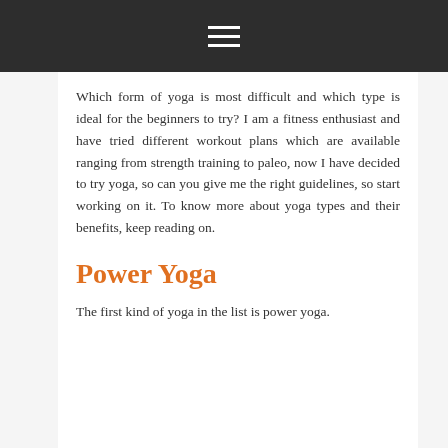≡
Which form of yoga is most difficult and which type is ideal for the beginners to try? I am a fitness enthusiast and have tried different workout plans which are available ranging from strength training to paleo, now I have decided to try yoga, so can you give me the right guidelines, so start working on it. To know more about yoga types and their benefits, keep reading on.
Power Yoga
The first kind of yoga in the list is power yoga.